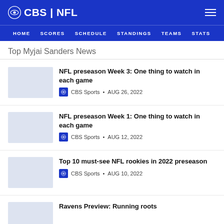CBS | NFL — HOME SCORES SCHEDULE STANDINGS TEAMS STATS
Top Myjai Sanders News
NFL preseason Week 3: One thing to watch in each game — CBS Sports • AUG 26, 2022
NFL preseason Week 1: One thing to watch in each game — CBS Sports • AUG 12, 2022
Top 10 must-see NFL rookies in 2022 preseason — CBS Sports • AUG 10, 2022
Ravens Preview: Running roots